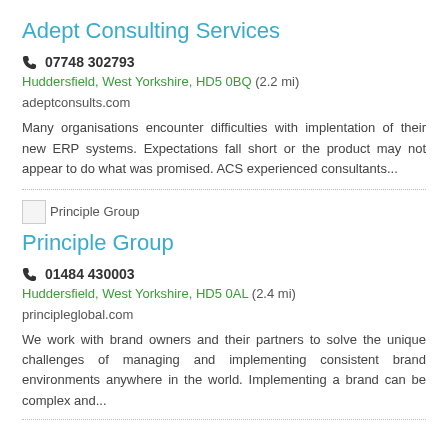Adept Consulting Services
07748 302793
Huddersfield, West Yorkshire, HD5 0BQ (2.2 mi)
adeptconsults.com
Many organisations encounter difficulties with implentation of their new ERP systems. Expectations fall short or the product may not appear to do what was promised. ACS experienced consultants...
Principle Group
01484 430003
Huddersfield, West Yorkshire, HD5 0AL (2.4 mi)
principleglobal.com
We work with brand owners and their partners to solve the unique challenges of managing and implementing consistent brand environments anywhere in the world. Implementing a brand can be complex and...